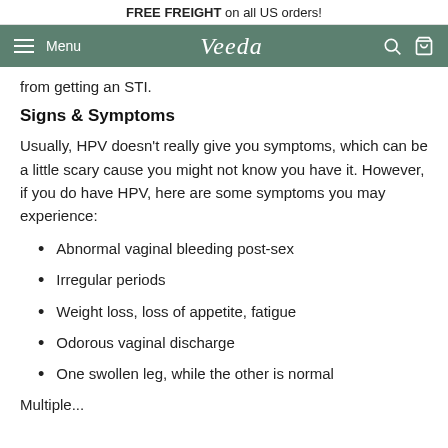FREE FREIGHT on all US orders!
Menu | Veeda | (search icon) (cart icon)
from getting an STI.
Signs & Symptoms
Usually, HPV doesn’t really give you symptoms, which can be a little scary cause you might not know you have it. However, if you do have HPV, here are some symptoms you may experience:
Abnormal vaginal bleeding post-sex
Irregular periods
Weight loss, loss of appetite, fatigue
Odorous vaginal discharge
One swollen leg, while the other is normal
Multiple...